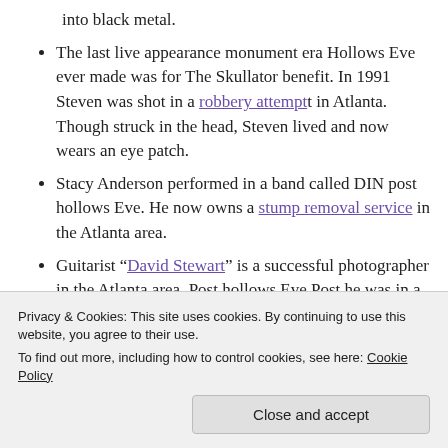into black metal.
The last live appearance monument era Hollows Eve ever made was for The Skullator benefit. In 1991 Steven was shot in a robbery attempt in Atlanta. Though struck in the head, Steven lived and now wears an eye patch.
Stacy Anderson performed in a band called DIN post hollows Eve. He now owns a stump removal service in the Atlanta area.
Guitarist “David Stewart” is a successful photographer in the Atlanta area. Post hollows Eve Post he was in a band with two rappers named
Privacy & Cookies: This site uses cookies. By continuing to use this website, you agree to their use.
To find out more, including how to control cookies, see here: Cookie Policy
Close and accept